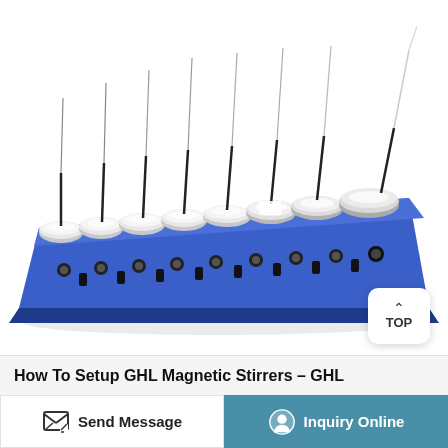[Figure (photo): A multi-position GHL magnetic stirrer unit — a long blue rectangular base with eight circular silver stirring platforms on top, each with a vertical probe/needle, and control knobs and switches along the front panel. A 'TOP' navigation button overlay appears in the lower-right of the image.]
How To Setup GHL Magnetic Stirrers – GHL
Send Message
Inquiry Online